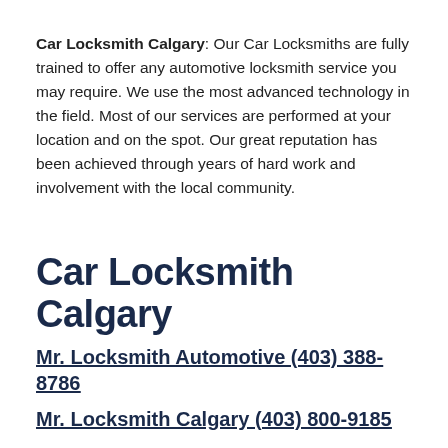Car Locksmith Calgary: Our Car Locksmiths are fully trained to offer any automotive locksmith service you may require. We use the most advanced technology in the field. Most of our services are performed at your location and on the spot. Our great reputation has been achieved through years of hard work and involvement with the local community.
Car Locksmith Calgary
Mr. Locksmith Automotive (403) 388-8786
Mr. Locksmith Calgary (403) 800-9185